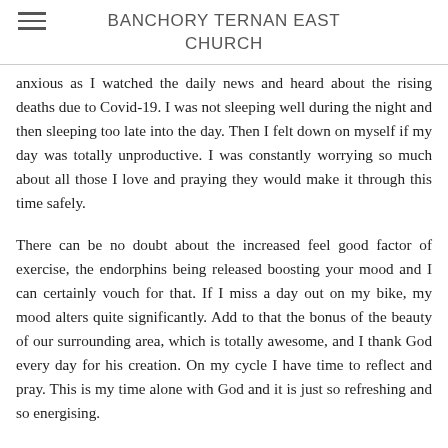BANCHORY TERNAN EAST CHURCH
anxious as I watched the daily news and heard about the rising deaths due to Covid-19. I was not sleeping well during the night and then sleeping too late into the day. Then I felt down on myself if my day was totally unproductive. I was constantly worrying so much about all those I love and praying they would make it through this time safely.
There can be no doubt about the increased feel good factor of exercise, the endorphins being released boosting your mood and I can certainly vouch for that. If I miss a day out on my bike, my mood alters quite significantly. Add to that the bonus of the beauty of our surrounding area, which is totally awesome, and I thank God every day for his creation. On my cycle I have time to reflect and pray. This is my time alone with God and it is just so refreshing and so energising.